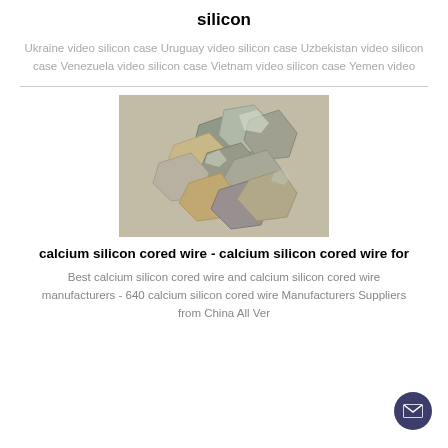silicon
Ukraine video silicon case Uruguay video silicon case Uzbekistan video silicon case Venezuela video silicon case Vietnam video silicon case Yemen video
[Figure (photo): A pile of silicon metal chunks or rocks with metallic and earthy tones on a sandy surface]
calcium silicon cored wire - calcium silicon cored wire for
Best calcium silicon cored wire and calcium silicon cored wire manufacturers - 640 calcium silicon cored wire Manufacturers Suppliers from China All Ver